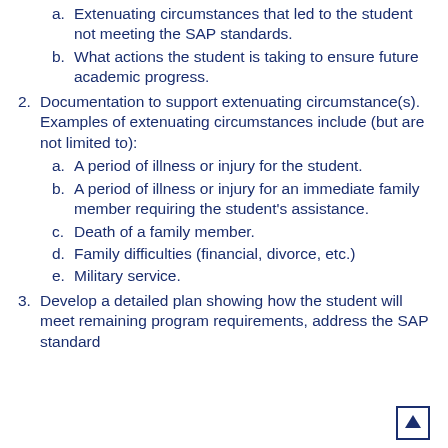a. Extenuating circumstances that led to the student not meeting the SAP standards.
b. What actions the student is taking to ensure future academic progress.
2. Documentation to support extenuating circumstance(s). Examples of extenuating circumstances include (but are not limited to):
a. A period of illness or injury for the student.
b. A period of illness or injury for an immediate family member requiring the student's assistance.
c. Death of a family member.
d. Family difficulties (financial, divorce, etc.)
e. Military service.
3. Develop a detailed plan showing how the student will meet remaining program requirements, address the SAP standard